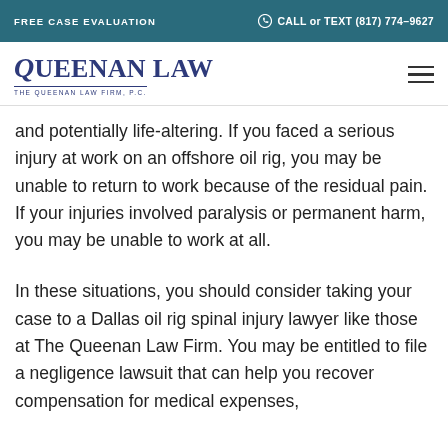FREE CASE EVALUATION | CALL or TEXT (817) 774-9627
[Figure (logo): Queenan Law - The Queenan Law Firm, P.C. logo in dark blue serif font]
and potentially life-altering. If you faced a serious injury at work on an offshore oil rig, you may be unable to return to work because of the residual pain. If your injuries involved paralysis or permanent harm, you may be unable to work at all.
In these situations, you should consider taking your case to a Dallas oil rig spinal injury lawyer like those at The Queenan Law Firm. You may be entitled to file a negligence lawsuit that can help you recover compensation for medical expenses,